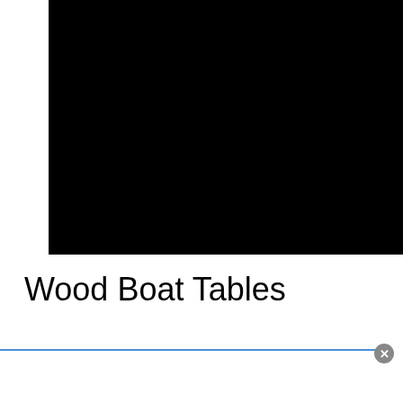[Figure (photo): Large black rectangular image, likely a photo of a wood boat table that appears completely dark/underexposed]
Wood Boat Tables